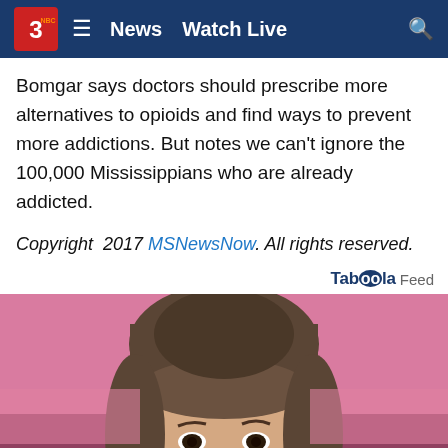News   Watch Live
Bomgar says doctors should prescribe more alternatives to opioids and find ways to prevent more addictions. But notes we can't ignore the 100,000 Mississippians who are already addicted.
Copyright  2017 MSNewsNow. All rights reserved.
Taboola Feed
[Figure (photo): Close-up photo of a young woman with dark hair pulled back with bangs, in front of a pink background, looking slightly downward toward the camera.]